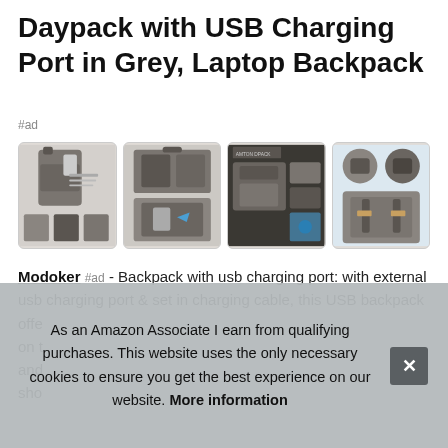Daypack with USB Charging Port in Grey, Laptop Backpack
#ad
[Figure (photo): Four product photos of a grey canvas laptop backpack with USB charging port, showing multiple angles: front with phone, interior pockets, back view, and detail shots of zippers and accessories.]
Modoker #ad - Backpack with usb charging port: with external usb charging port & set in charging cable, this USB backpack offe... on t... and... sho...
As an Amazon Associate I earn from qualifying purchases. This website uses the only necessary cookies to ensure you get the best experience on our website. More information